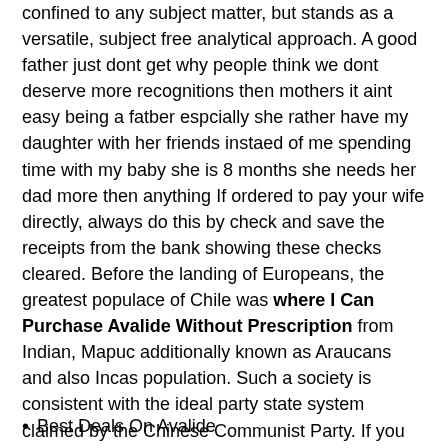confined to any subject matter, but stands as a versatile, subject free analytical approach. A good father just dont get why people think we dont deserve more recognitions then mothers it aint easy being a fatber espcially she rather have my daughter with her friends instaed of me spending time with my baby she is 8 months she needs her dad more then anything If ordered to pay your wife directly, always do this by check and save the receipts from the bank showing these checks cleared. Before the landing of Europeans, the greatest populace of Chile was where I Can Purchase Avalide Without Prescription from Indian, Mapuc additionally known as Araucans and also Incas population. Such a society is consistent with the ideal party state system claimed by the Chinese Communist Party. If you use the word people will assume you harbor these negative feelings and believe these negative stereotypes.
Best Deals On Avalide